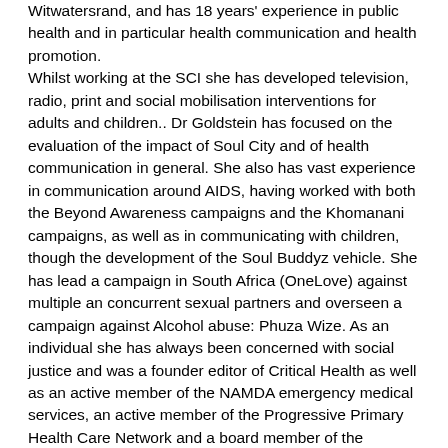Witwatersrand, and has 18 years' experience in public health and in particular health communication and health promotion. Whilst working at the SCI she has developed television, radio, print and social mobilisation interventions for adults and children.. Dr Goldstein has focused on the evaluation of the impact of Soul City and of health communication in general. She also has vast experience in communication around AIDS, having worked with both the Beyond Awareness campaigns and the Khomanani campaigns, as well as in communicating with children, though the development of the Soul Buddyz vehicle. She has lead a campaign in South Africa (OneLove) against multiple an concurrent sexual partners and overseen a campaign against Alcohol abuse: Phuza Wize. As an individual she has always been concerned with social justice and was a founder editor of Critical Health as well as an active member of the NAMDA emergency medical services, an active member of the Progressive Primary Health Care Network and a board member of the PPASA. Dr Goldstein has presented papers at many National and International conferences and has served on the Afro Region Task Force for Immunization, and the Independent Monitoring Board for the Global Eradication of Polio. Dr Goldstein is an honorary lecturer at the University of the Witwatersrand School of Public Health, and teaches at the University of Kwa Zulu Natal.
Posición Programme Director at Soul City: Institute for Health and